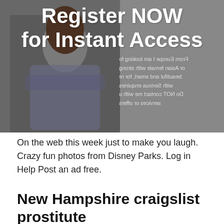[Figure (photo): A woman with arms crossed wearing a blue striped shirt, overlaid with large white bold text reading 'Register NOW for Instant Access'. Background is dark/grey. Mirrored/reversed text is visible in the right portion of the image.]
On the web this week just to make you laugh. Crazy fun photos from Disney Parks. Log in Help Post an ad free.
New Hampshire craigslist prostitute
by Favre / 11-01-2023 / craigslist New Hampshire sex